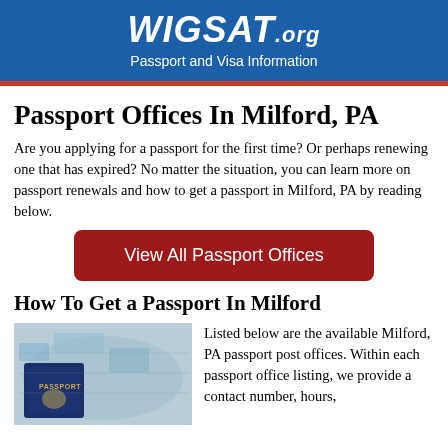WIGSAT.org Passport and Visa Information
Passport Offices In Milford, PA
Are you applying for a passport for the first time? Or perhaps renewing one that has expired? No matter the situation, you can learn more on passport renewals and how to get a passport in Milford, PA by reading below.
View All Passport Offices
How To Get a Passport In Milford
[Figure (photo): A passport booklet resting on a map, with 'PASSPORT' text visible on the dark blue cover.]
Listed below are the available Milford, PA passport post offices. Within each passport office listing, we provide a contact number, hours,